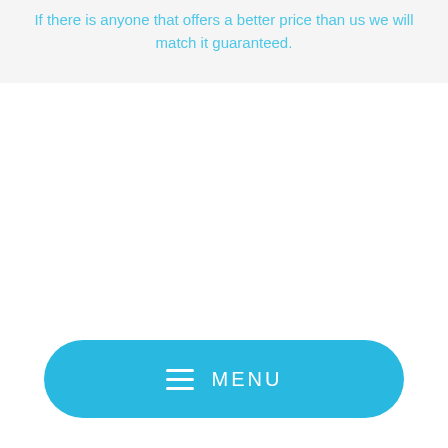If there is anyone that offers a better price than us we will match it guaranteed.
[Figure (other): A rounded blue button with a hamburger menu icon and the text MENU in white capital letters]